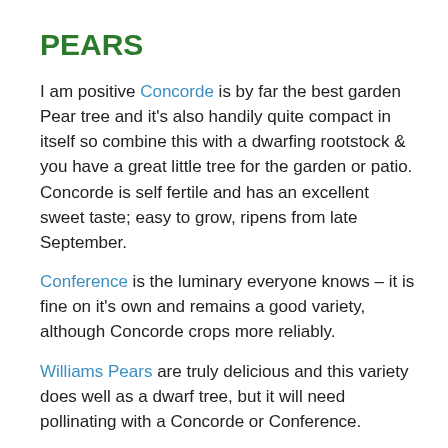PEARS
I am positive Concorde is by far the best garden Pear tree and it's also handily quite compact in itself so combine this with a dwarfing rootstock & you have a great little tree for the garden or patio. Concorde is self fertile and has an excellent sweet taste; easy to grow, ripens from late September.
Conference is the luminary everyone knows – it is fine on it's own and remains a good variety, although Concorde crops more reliably.
Williams Pears are truly delicious and this variety does well as a dwarf tree, but it will need pollinating with a Concorde or Conference.
PATIO & MINIATURE PLUM TREES
Plum trees for small gardens are easily grown with some basic knowledge. Make sure youb choose a space saving column tree, or a dwarfing bush roottsock such as Pixy. As for varieties ...
Victoria! Everyone cries in unison. It's understandable, the flavour